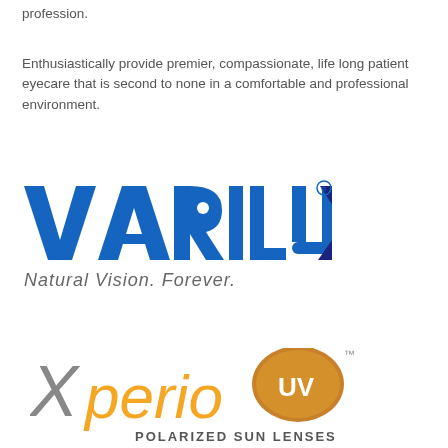profession.
Enthusiastically provide premier, compassionate, life long patient eyecare that is second to none in a comfortable and professional environment.
[Figure (logo): Varilux logo with text 'Natural Vision. Forever.']
[Figure (logo): Xperio UV Polarized Sun Lenses logo]